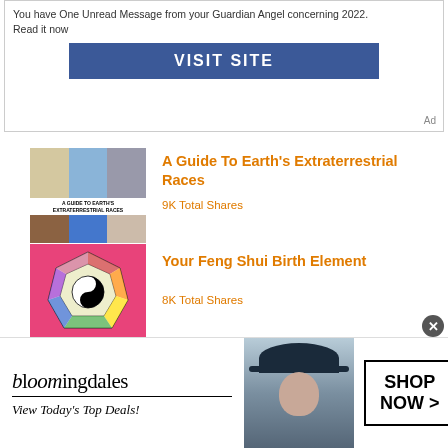[Figure (screenshot): Advertisement banner with text 'You have One Unread Message from your Guardian Angel concerning 2022. Read it now' and a blue VISIT SITE button. Labeled 'Ad'.]
[Figure (illustration): Thumbnail image for article about extraterrestrial races showing alien faces]
A Guide To Earth's Extraterrestrial Races
9K Total Shares
[Figure (illustration): Thumbnail image showing a Feng Shui Bagua diagram on pink background]
Your Feng Shui Birth Element
8K Total Shares
[Figure (illustration): Partial thumbnail for article about empaths, blue background]
15 Tips For Empaths and Highly Sensitive
[Figure (screenshot): Bloomingdale's advertisement banner with logo, tagline 'View Today's Top Deals!', model in hat, and SHOP NOW button]